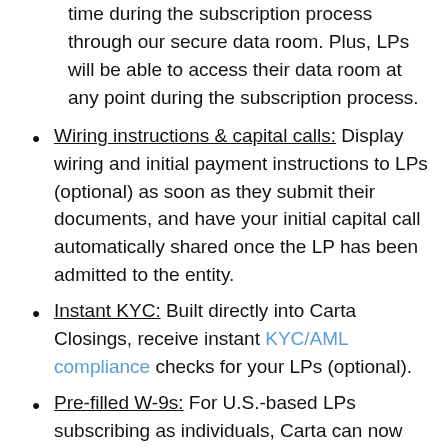time during the subscription process through our secure data room. Plus, LPs will be able to access their data room at any point during the subscription process.
Wiring instructions & capital calls: Display wiring and initial payment instructions to LPs (optional) as soon as they submit their documents, and have your initial capital call automatically shared once the LP has been admitted to the entity.
Instant KYC: Built directly into Carta Closings, receive instant KYC/AML compliance checks for your LPs (optional).
Pre-filled W-9s: For U.S.-based LPs subscribing as individuals, Carta can now pre-fill a W-9 for them to review and e-sign. The W-9 is pre-filled based on the information the LP already provided as part of their subscription.